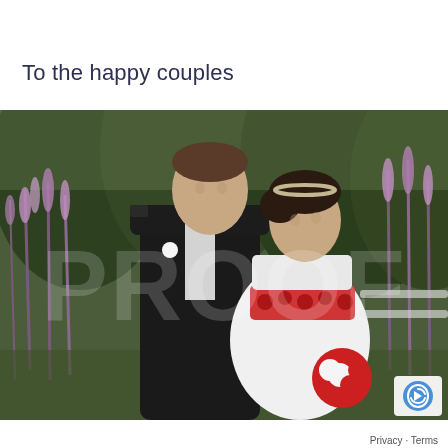To the happy couples
[Figure (photo): Wedding photo of a couple standing outdoors among tall pink/purple wildflowers and greenery. The groom wears a black suit with a white rose boutonniere and a military-style epaulette. The bride wears a white strapless dress with a red floral sash/belt and holds a red and white bouquet. She wears a pearl/crystal headband. They are facing each other intimately. A watermark 'PROOF' is overlaid across the image. A reCAPTCHA logo appears in the bottom-right corner.]
Privacy · Terms